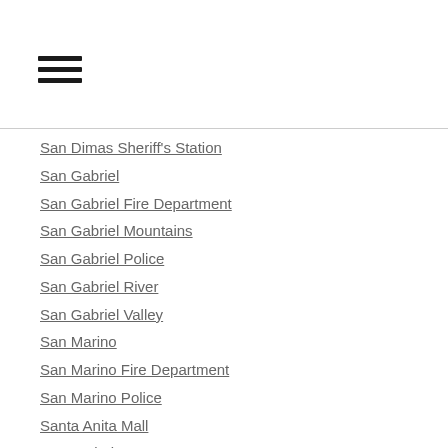[Figure (other): Hamburger menu icon with three horizontal bars]
San Dimas Sheriff's Station
San Gabriel
San Gabriel Fire Department
San Gabriel Mountains
San Gabriel Police
San Gabriel River
San Gabriel Valley
San Marino
San Marino Fire Department
San Marino Police
Santa Anita Mall
Santa Clarita
Santa Fe Dam
Santa Fe Springs
Scams
Schools
School Threats
Sex Crimes